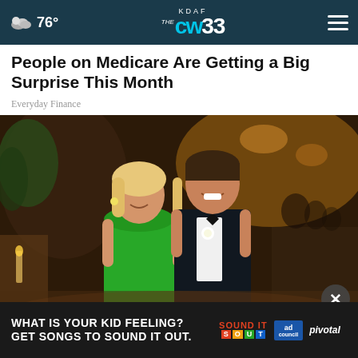KDAF CW 33 — 76°
People on Medicare Are Getting a Big Surprise This Month
Everyday Finance
[Figure (photo): A couple posing at a formal event; woman in green strapless dress, man in black tuxedo with white boutonniere, ballroom setting with other guests in background]
The [obscured text] ...e the List.
[Figure (other): Advertisement banner: 'WHAT IS YOUR KID FEELING? GET SONGS TO SOUND IT OUT.' with Sound It Out and Ad Council / Pivotal logos]